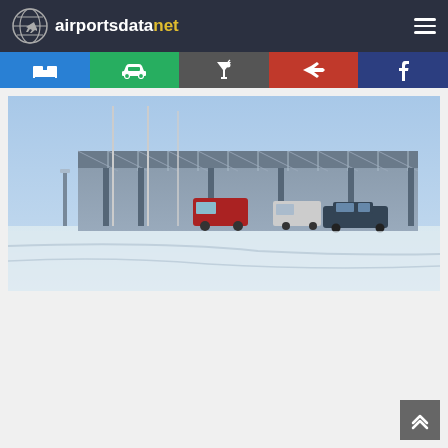airportsdatanet
[Figure (photo): Airport terminal building exterior in winter/snow, with vehicles parked outside and flagpoles visible. Modern steel canopy structure.]
[Figure (other): Back-to-top button with double chevron up arrow, dark grey background, bottom right corner]